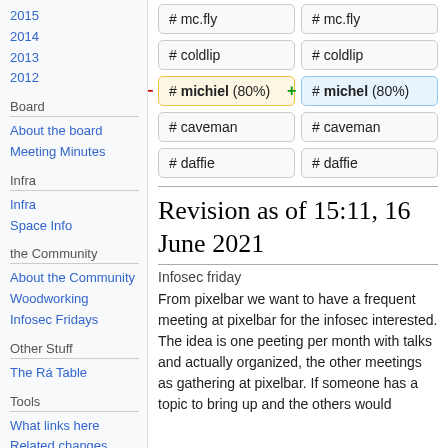2015
2014
2013
2012
Board
About the board
Meeting Minutes
Infra
Infra
Space Info
the Community
About the Community
Woodworking
Infosec Fridays
Other Stuff
The Rá Table
Tools
What links here
Related changes
[Figure (other): Wiki diff comparison showing two columns. Left column shows: # mc.fly, # coldlip, # michiel (80%) highlighted in yellow with minus sign, # caveman, # daffie. Right column shows: # mc.fly, # coldlip, # michel (80%) highlighted in blue with plus sign, # caveman, # daffie.]
Revision as of 15:11, 16 June 2021
Infosec friday
From pixelbar we want to have a frequent meeting at pixelbar for the infosec interested. The idea is one peeting per month with talks and actually organized, the other meetings as gathering at pixelbar. If someone has a topic to bring up and the others would